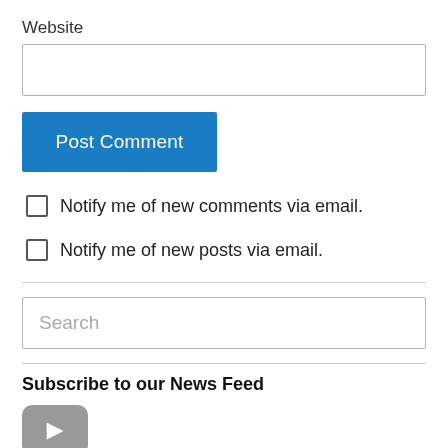Website
[Figure (other): Text input box for website URL]
[Figure (other): Blue 'Post Comment' button]
Notify me of new comments via email.
Notify me of new posts via email.
[Figure (other): Search input box with placeholder text 'Search']
Subscribe to our News Feed
[Figure (other): RSS/news feed subscribe icon button (gray rounded rectangle with arrow)]